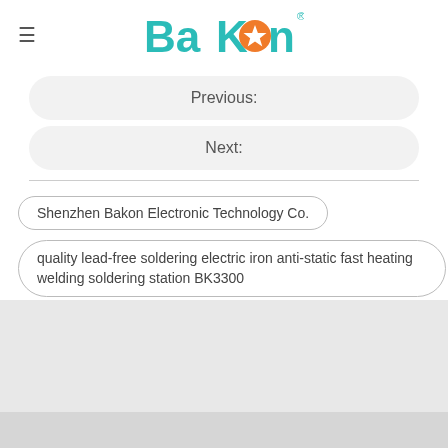BaKon
Previous:
Next:
Shenzhen Bakon Electronic Technology Co.
quality lead-free soldering electric iron anti-static fast heating welding soldering station BK3300
High Quality welding equipment
welding equipment Details